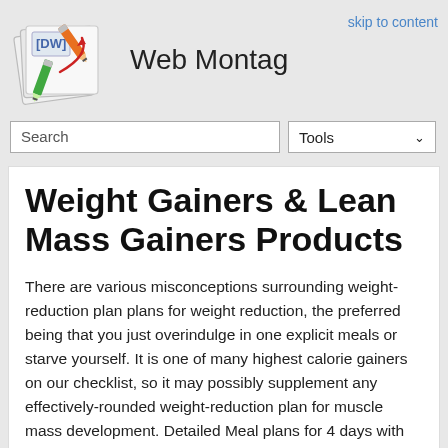Web Montag
skip to content
Weight Gainers & Lean Mass Gainers Products
There are various misconceptions surrounding weight-reduction plan plans for weight reduction, the preferred being that you just overindulge in one explicit meals or starve yourself. It is one of many highest calorie gainers on our checklist, so it may possibly supplement any effectively-rounded weight-reduction plan for muscle mass development. Detailed Meal plans for 4 days with calorie levels per meal. This not only includes exercise or the amount you run for weight reduction, but in addition the kind of way of life you lead and the mindless tasks therein.